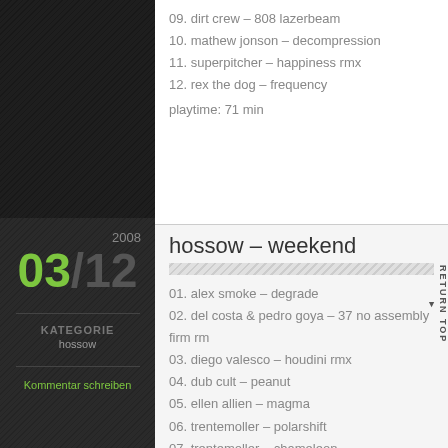09. dirt crew – 808 lazerbeam
10. mathew jonson – decompression
11. superpitcher – happiness rmx
12. rex the dog – frequency
playtime: 71 min
2008
03/12
KATEGORIE
hossow
Kommentar schreiben
hossow – weekend
01. alex smoke – degrade
02. del costa & pedro goya – 37 no assembly firm rm
03. diego valesco – houdini rmx
04. dub cult – peanut
05. ellen allien – magma
06. trentemoller – polarshift
07. trentemoller – chameleon